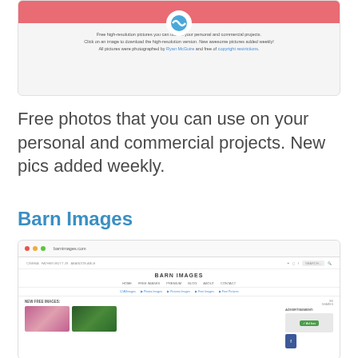[Figure (screenshot): Screenshot of a website showing a pink header bar with a circle logo, and centered text about free high-resolution pictures. Links to Ryan McGuire and copyright restrictions in blue.]
Free photos that you can use on your personal and commercial projects. New pics added weekly.
Barn Images
[Figure (screenshot): Screenshot of barnimages.com website showing browser chrome with colored dots, URL bar, site navigation with BARN IMAGES title, nav links (HOME, FREE IMAGES, PREMIUM, BLOG, ABOUT, CONTACT), tag filters, and a content area with NEW FREE IMAGES section showing thumbnail images and an ADVERTISEMENT sidebar.]